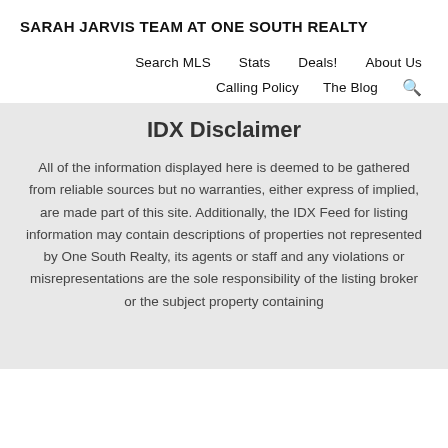SARAH JARVIS TEAM AT ONE SOUTH REALTY
Search MLS | Stats | Deals! | About Us | Calling Policy | The Blog
IDX Disclaimer
All of the information displayed here is deemed to be gathered from reliable sources but no warranties, either express of implied, are made part of this site. Additionally, the IDX Feed for listing information may contain descriptions of properties not represented by One South Realty, its agents or staff and any violations or misrepresentations are the sole responsibility of the listing broker or the subject property containing...